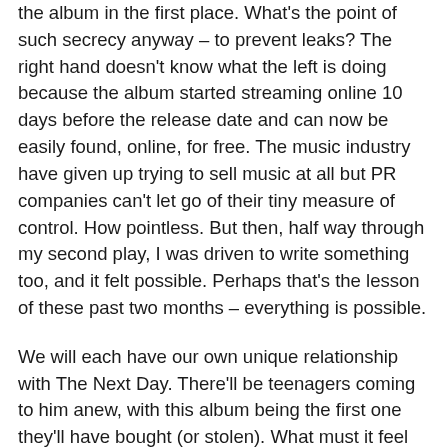the album in the first place. What's the point of such secrecy anyway – to prevent leaks? The right hand doesn't know what the left is doing because the album started streaming online 10 days before the release date and can now be easily found, online, for free. The music industry have given up trying to sell music at all but PR companies can't let go of their tiny measure of control. How pointless. But then, half way through my second play, I was driven to write something too, and it felt possible. Perhaps that's the lesson of these past two months – everything is possible.
We will each have our own unique relationship with The Next Day. There'll be teenagers coming to him anew, with this album being the first one they'll have bought (or stolen). What must it feel like to be at the beginning of such a journey? They have untold riches ahead. But whether you're a kid or Bowie's age, you'll have your